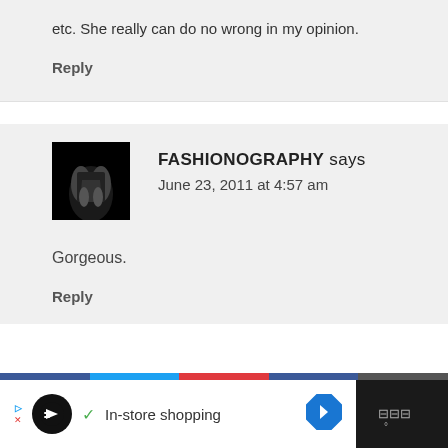etc. She really can do no wrong in my opinion.
Reply
FASHIONOGRAPHY says
June 23, 2011 at 4:57 am
Gorgeous.
Reply
[Figure (other): Advertisement banner: In-store shopping ad with logo, checkmark, and navigation arrow icon]